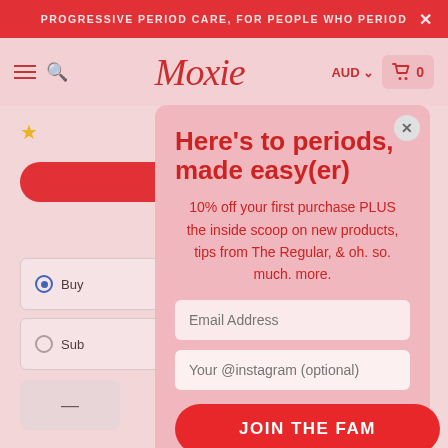PROGRESSIVE PERIOD CARE, FOR PEOPLE WHO PERIOD
[Figure (screenshot): Moxie brand website navigation bar with hamburger menu, search icon, Moxie script logo in red, AUD currency selector, and shopping cart showing 0 items]
Here's to periods, made easy(er)
10% off your first purchase PLUS the inside scoop on new products, tips from The Regular, & oh. so. much. more.
Email Address
Your @instagram (optional)
JOIN THE FAM